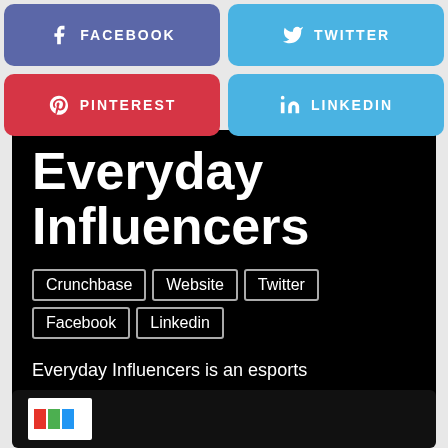[Figure (infographic): Social media share buttons: Facebook (purple-blue), Twitter (blue), Pinterest (red), LinkedIn (blue) as rounded rectangles in a 2x2 grid]
Everyday Influencers
Crunchbase
Website
Twitter
Facebook
Linkedin
Everyday Influencers is an esports management firm representing top talent.
[Figure (logo): Partial logo preview of another company at the bottom, white background with colorful letters visible]